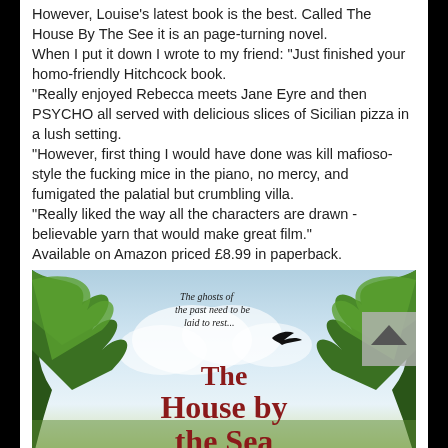However, Louise's latest book is the best. Called The House By The See it is an page-turning novel.
When I put it down I wrote to my friend: "Just finished your homo-friendly Hitchcock book.
"Really enjoyed Rebecca meets Jane Eyre and then PSYCHO all served with delicious slices of Sicilian pizza in a lush setting.
"However, first thing I would have done was kill mafioso-style the fucking mice in the piano, no mercy, and fumigated the palatial but crumbling villa.
"Really liked the way all the characters are drawn - believable yarn that would make great film."
Available on Amazon priced £8.99 in paperback.
[Figure (illustration): Book cover of 'The House by the Sea' showing lush green foliage/trees framing a bright sky, with a bird in flight, tagline 'The ghosts of the past need to be laid to rest...', and large red serif title text.]